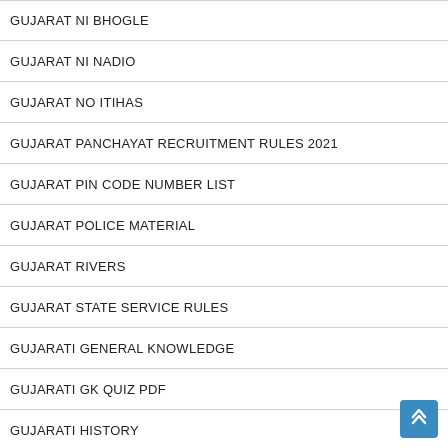GUJARAT NI BHOGLE
GUJARAT NI NADIO
GUJARAT NO ITIHAS
GUJARAT PANCHAYAT RECRUITMENT RULES 2021
GUJARAT PIN CODE NUMBER LIST
GUJARAT POLICE MATERIAL
GUJARAT RIVERS
GUJARAT STATE SERVICE RULES
GUJARATI GENERAL KNOWLEDGE
GUJARATI GK QUIZ PDF
GUJARATI HISTORY
GUJARATI KAKKO & BARAKSHARI
GUJARATI NEWSPAPERS
GUJARATI SAHITYA PDF